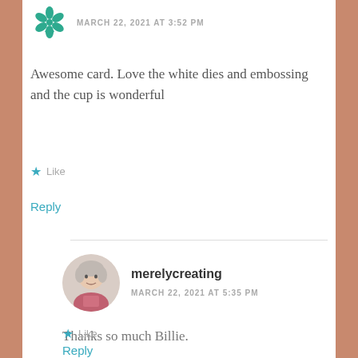[Figure (illustration): Green decorative floral/leaf avatar icon for first commenter]
MARCH 22, 2021 AT 3:52 PM
Awesome card. Love the white dies and embossing and the cup is wonderful
Like
Reply
merelycreating
MARCH 22, 2021 AT 5:35 PM
[Figure (photo): Circular profile photo of an elderly woman with gray hair]
Thanks so much Billie.
Like
Reply